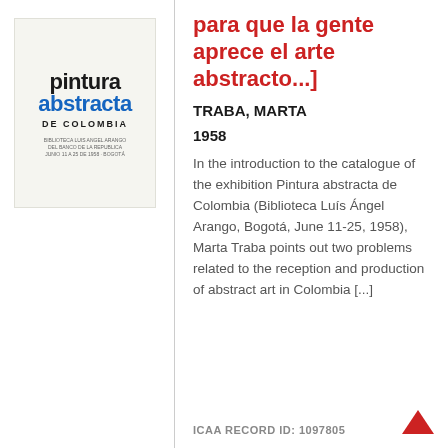[Figure (illustration): Book cover of 'Pintura abstracta de Colombia' showing 'Pintura' in black bold text, 'abstracta' in blue bold text, 'DE COLOMBIA' in spaced uppercase, and small library text below]
para que la gente aprece el arte abstracto...]
TRABA, MARTA
1958
In the introduction to the catalogue of the exhibition Pintura abstracta de Colombia (Biblioteca Luís Ángel Arango, Bogotá, June 11-25, 1958), Marta Traba points out two problems related to the reception and production of abstract art in Colombia [...]
ICAA RECORD ID: 1097805